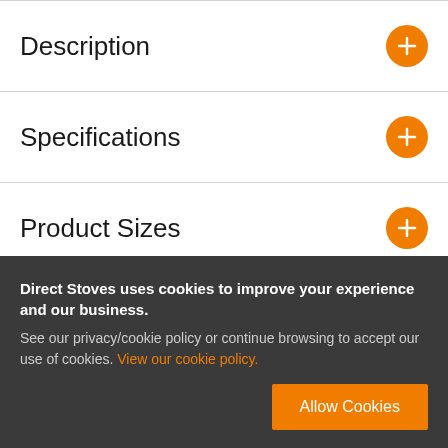Description
Specifications
Product Sizes
Reviews
Delivery Info
Q & A
Direct Stoves uses cookies to improve your experience and our business. See our privacy/cookie policy or continue browsing to accept our use of cookies. View our cookie policy.